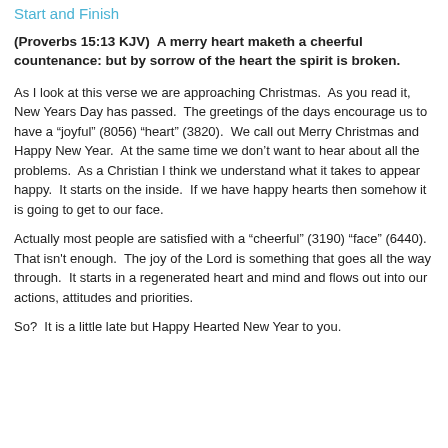Start and Finish
(Proverbs 15:13 KJV)  A merry heart maketh a cheerful countenance: but by sorrow of the heart the spirit is broken.
As I look at this verse we are approaching Christmas.  As you read it, New Years Day has passed.  The greetings of the days encourage us to have a “joyful” (8056) “heart” (3820).  We call out Merry Christmas and Happy New Year.  At the same time we don’t want to hear about all the problems.  As a Christian I think we understand what it takes to appear happy.  It starts on the inside.  If we have happy hearts then somehow it is going to get to our face.
Actually most people are satisfied with a “cheerful” (3190) “face” (6440).  That isn't enough.  The joy of the Lord is something that goes all the way through.  It starts in a regenerated heart and mind and flows out into our actions, attitudes and priorities.
So?  It is a little late but Happy Hearted New Year to you.